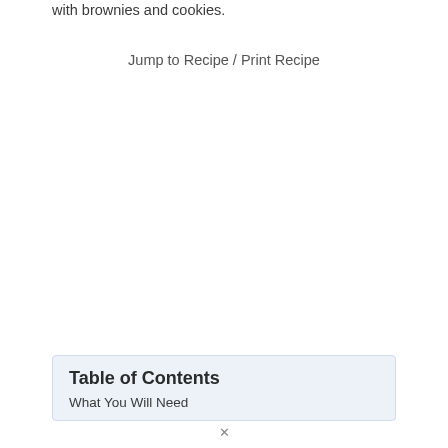with brownies and cookies.
Jump to Recipe / Print Recipe
| Table of Contents |
| --- |
| What You Will Need |